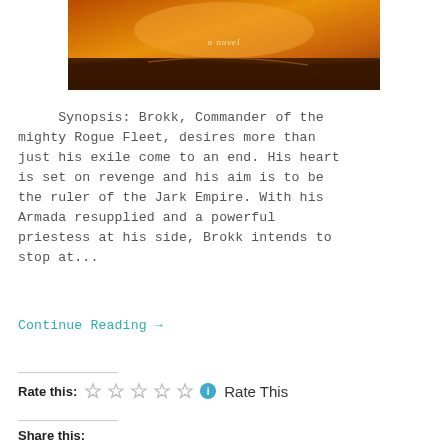[Figure (photo): Book cover image with warm orange/amber tones showing a landscape scene with text 'a novel' visible]
Synopsis: Brokk, Commander of the mighty Rogue Fleet, desires more than just his exile come to an end. His heart is set on revenge and his aim is to be the ruler of the Jark Empire. With his Armada resupplied and a powerful priestess at his side, Brokk intends to stop at...
Continue Reading →
Rate this: ☆☆☆☆☆ ⓘ Rate This
Share this: